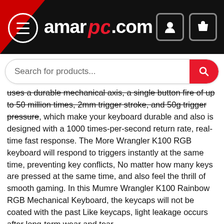amar[pc].com
[Figure (screenshot): Search bar with placeholder text 'Search for products...' and red search button]
uses a durable mechanical axis, a single button fire of up to 50 million times, 2mm trigger stroke, and 50g trigger pressure, which make your keyboard durable and also is designed with a 1000 times-per-second return rate, real-time fast response. The More Wrangler K100 RGB keyboard will respond to triggers instantly at the same time, preventing key conflicts, No matter how many keys are pressed at the same time, and also feel the thrill of smooth gaming. In this Mumre Wrangler K100 Rainbow RGB Mechanical Keyboard, the keycaps will not be coated with the past Like keycaps, light leakage occurs after long-term wear and tear.
This Mumre Wrangler K100 keyboard will respond to